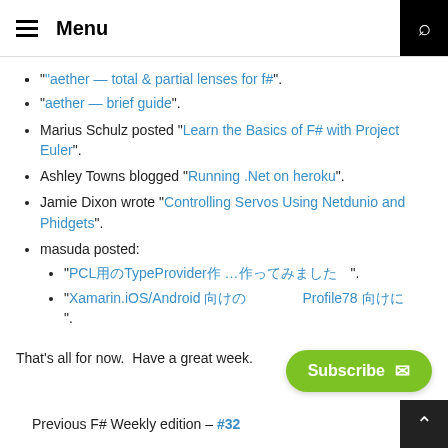Menu
"aether — total & partial lenses for f#".
"aether — brief guide".
Marius Schulz posted "Learn the Basics of F# with Project Euler".
Ashley Towns blogged "Running .Net on heroku".
Jamie Dixon wrote "Controlling Servos Using Netdunio and Phidgets".
masuda posted:
"PCL用のTypeProvider作 ...作ってみました".
"Xamarin.iOS/Android 向けの　　　　Profile78 向けに　　".
That's all for now.  Have a great week.
Previous F# Weekly edition – #32